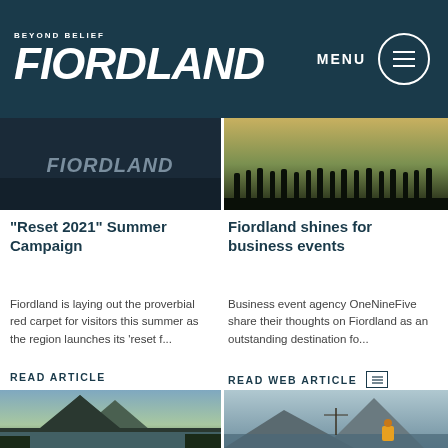BEYOND BELIEF FIORDLAND — MENU
[Figure (photo): Dark photo with FIORDLAND logo text overlay]
[Figure (photo): Silhouettes of people standing in a field at sunset]
"Reset 2021" Summer Campaign
Fiordland shines for business events
Fiordland is laying out the proverbial red carpet for visitors this summer as the region launches its 'reset f...
Business event agency OneNineFive share their thoughts on Fiordland as an outstanding destination fo...
READ ARTICLE
READ WEB ARTICLE
[Figure (photo): Mountain landscape with peaks and lake]
[Figure (photo): Person in kayak gear with a boat and mountains]